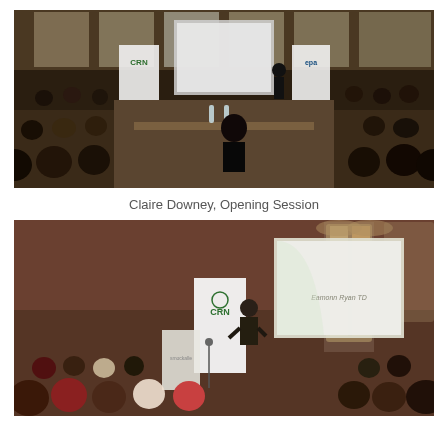[Figure (photo): Conference hall with audience seated in rows, presenter at front near a projection screen showing a presentation. CRN and EPA banners visible. Gothic-style windows in background.]
Claire Downey, Opening Session
[Figure (photo): Speaker presenting at a podium in a brick-walled venue with stained glass windows. CRN and EPA banners visible. Screen shows 'Eamonn Ryan TD'. Audience seated in foreground.]